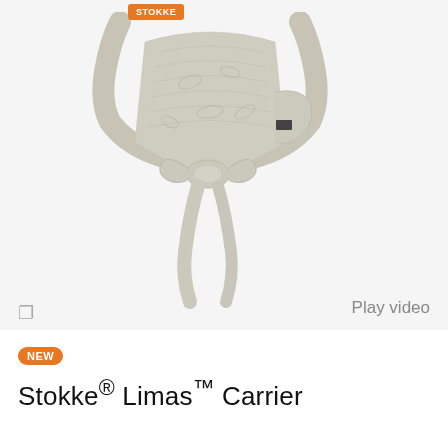[Figure (photo): Stokke baby carrier product photo showing a gray patterned wrap-style baby carrier with tied bow straps, on a light gray background. A STOKKE brand badge appears in the top area.]
Play video
NEW
Stokke® Limas™ Carrier